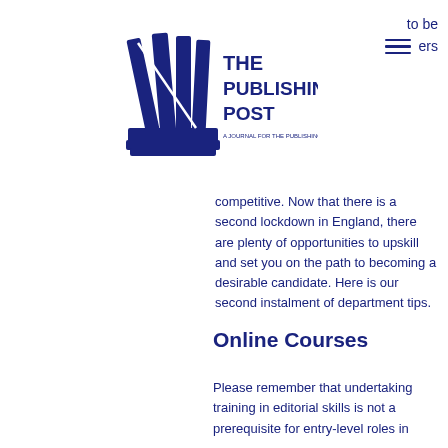[Figure (logo): The Publishing Post logo — stylized books icon with text 'THE PUBLISHING POST']
to be
ers
competitive. Now that there is a second lockdown in England, there are plenty of opportunities to upskill and set you on the path to becoming a desirable candidate. Here is our second instalment of department tips.
Online Courses
Please remember that undertaking training in editorial skills is not a prerequisite for entry-level roles in